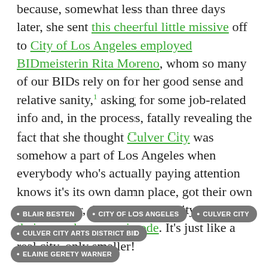because, somewhat less than three days later, she sent this cheerful little missive off to City of Los Angeles employed BIDmeisterin Rita Moreno, whom so many of our BIDs rely on for her good sense and relative sanity,¹ asking for some job-related info and, in the process, fatally revealing the fact that she thought Culver City was somehow a part of Los Angeles when everybody who's actually paying attention knows it's its own damn place, got their own damn mayor, their own damn city council, their own damn muni code. It's just like a real city, only smaller!
As usual, turn the page for a transcription, more emails, and the usual mockery!
Continue reading →
[Figure (other): Social sharing icons: Facebook (blue), Twitter (blue), Reddit (orange-red), Share (green)]
• BLAIR BESTEN  • CITY OF LOS ANGELES  • CULVER CITY  • CULVER CITY ARTS DISTRICT BID  • ELAINE GERETY WARNER